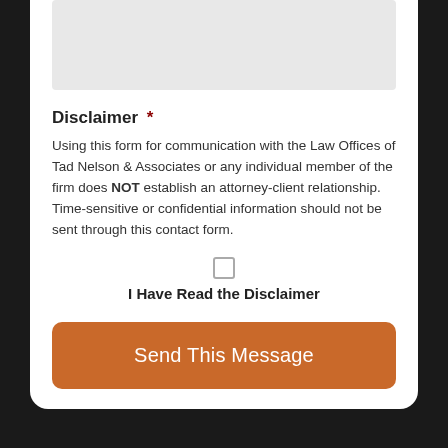Disclaimer *
Using this form for communication with the Law Offices of Tad Nelson & Associates or any individual member of the firm does NOT establish an attorney-client relationship. Time-sensitive or confidential information should not be sent through this contact form.
I Have Read the Disclaimer
Send This Message